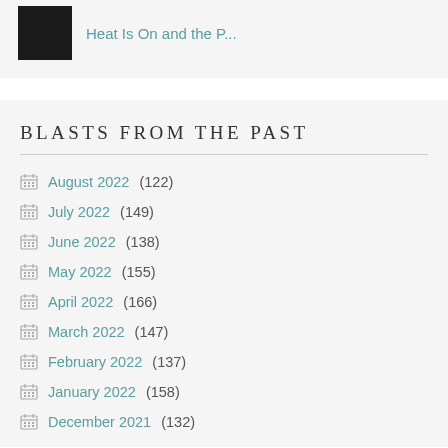Heat Is On and the P...
BLASTS FROM THE PAST
August 2022 (122)
July 2022 (149)
June 2022 (138)
May 2022 (155)
April 2022 (166)
March 2022 (147)
February 2022 (137)
January 2022 (158)
December 2021 (132)